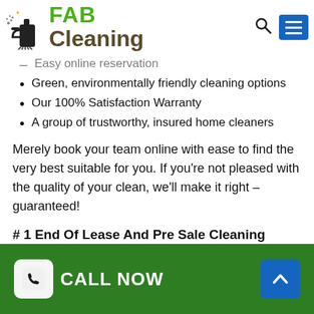[Figure (logo): FAB Cleaning logo with spray bottle and mop icon, FAB in green bold text, Cleaning in brown bold text]
Easy online reservation
Green, environmentally friendly cleaning options
Our 100% Satisfaction Warranty
A group of trustworthy, insured home cleaners
Merely book your team online with ease to find the very best suitable for you. If you’re not pleased with the quality of your clean, we’ll make it right – guaranteed!
# 1 End Of Lease And Pre Sale Cleaning Company Trusted In Westmeadows!
Find out why property owners throughout Westmeadows are turning to us for thorough and affordable home
[Figure (other): Green footer bar with CALL NOW button (phone icon in white box) and a blue arrow-up button]